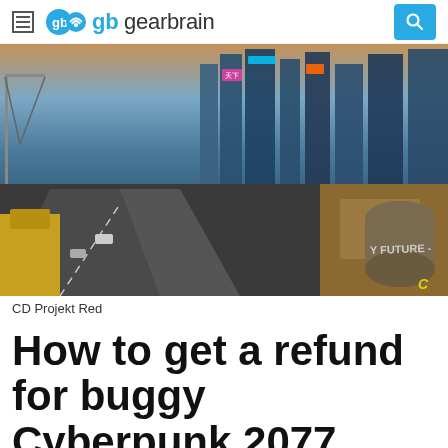gearbrain
[Figure (photo): Cyberpunk 2077 game screenshot showing a futuristic city at dusk with highways, neon-lit skyscrapers, and a cyberpunk cityscape. Text 'Y FUTURE' visible on a container in the foreground.]
CD Projekt Red
How to get a refund for buggy Cyberpunk 2077